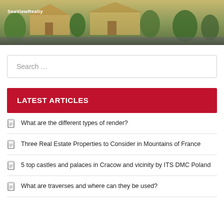[Figure (photo): Exterior photo of residential properties with greenery, a road visible at the bottom. SeaViewRealty brand text overlaid on top left.]
Search …
LATEST ARTICLES
What are the different types of render?
Three Real Estate Properties to Consider in Mountains of France
5 top castles and palaces in Cracow and vicinity by ITS DMC Poland
What are traverses and where can they be used?